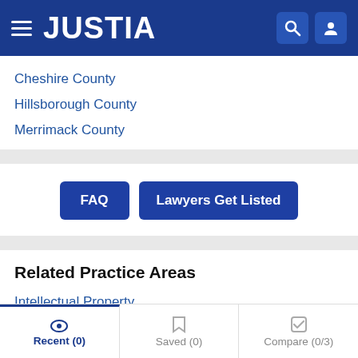JUSTIA
Cheshire County
Hillsborough County
Merrimack County
FAQ | Lawyers Get Listed
Related Practice Areas
Intellectual Property
Securities Law
Tax Law
Recent (0) | Saved (0) | Compare (0/3)